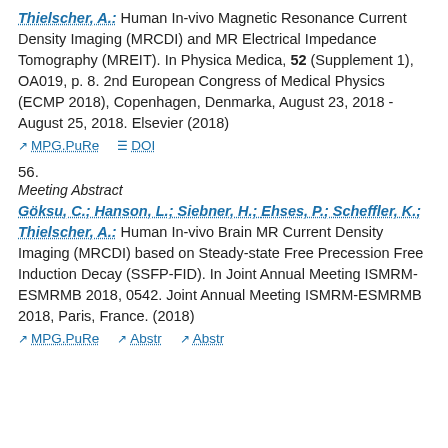Thielscher, A.: Human In-vivo Magnetic Resonance Current Density Imaging (MRCDI) and MR Electrical Impedance Tomography (MREIT). In Physica Medica, 52 (Supplement 1), OA019, p. 8. 2nd European Congress of Medical Physics (ECMP 2018), Copenhagen, Denmarka, August 23, 2018 - August 25, 2018. Elsevier (2018)
MPG.PuRe   DOI
56.
Meeting Abstract
Göksu, C.; Hanson, L.; Siebner, H.; Ehses, P.; Scheffler, K.; Thielscher, A.: Human In-vivo Brain MR Current Density Imaging (MRCDI) based on Steady-state Free Precession Free Induction Decay (SSFP-FID). In Joint Annual Meeting ISMRM-ESMRMB 2018, 0542. Joint Annual Meeting ISMRM-ESMRMB 2018, Paris, France. (2018)
MPG.PuRe   Abstr   Abstr